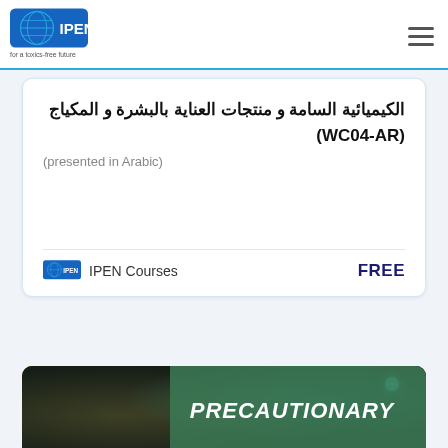IPEN — for a toxics-free future
الكيميائية السامة و منتجات العناية بالبشرة و المكياج (WC04-AR)
(presented in Arabic)
IPEN Courses   FREE
[Figure (photo): Blurred abstract background with teal/orange tones and a green overlay banner showing the word PRECAUTIONARY in bold italic white text]